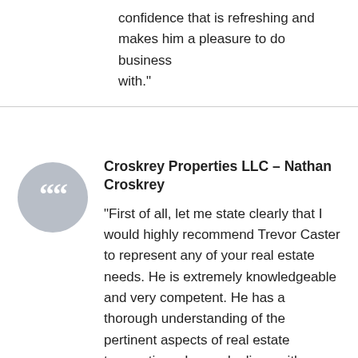confidence that is refreshing and makes him a pleasure to do business with.”
Croskrey Properties LLC – Nathan Croskrey
“First of all, let me state clearly that I would highly recommend Trevor Caster to represent any of your real estate needs. He is extremely knowledgeable and very competent. He has a thorough understanding of the pertinent aspects of real estate transactions. In our dealings with Trevor from the pre-listing meeting to the closing, he always handled himself